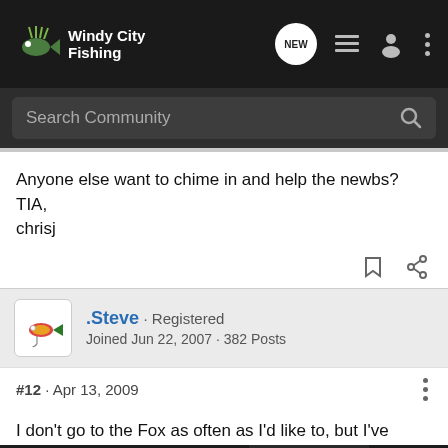WindyCityFishing — NEW — navigation icons
Search Community
Anyone else want to chime in and help the newbs?
TIA,
chrisj
.Steve · Registered
Joined Jun 22, 2007 · 382 Posts
#12 · Apr 13, 2009
I don't go to the Fox as often as I'd like to, but I've always had "luck" n... the river, an... th of